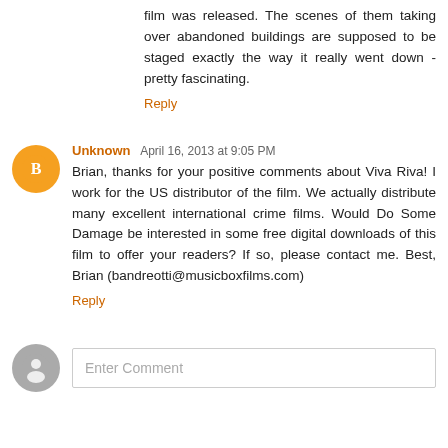film was released. The scenes of them taking over abandoned buildings are supposed to be staged exactly the way it really went down - pretty fascinating.
Reply
Unknown April 16, 2013 at 9:05 PM
Brian, thanks for your positive comments about Viva Riva! I work for the US distributor of the film. We actually distribute many excellent international crime films. Would Do Some Damage be interested in some free digital downloads of this film to offer your readers? If so, please contact me. Best, Brian (bandreotti@musicboxfilms.com)
Reply
Enter Comment